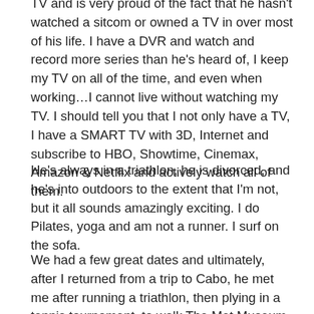TV and is very proud of the fact that he hasn't watched a sitcom or owned a TV in over most of his life. I have a DVR and watch and record more series than he's heard of, I keep my TV on all of the time, and even when working…I cannot live without watching my TV. I should tell you that I not only have a TV, I have a SMART TV with 3D, Internet and subscribe to HBO, Showtime, Cinemax, Amazon & Netflix and actively watch all of them.
He's always in a triathlon, he is divorced, and he's into outdoors to the extent that I'm not, but it all sounds amazingly exciting. I do Pilates, yoga and am not a runner. I surf on the sofa.
We had a few great dates and ultimately, after I returned from a trip to Cabo, he met me after running a triathlon, then plying in a tennis tournament, to walk The Met Museum with me, then drinks, and dinner. At the time, I was trying to battle a virus that I'd returned with from Cabo,